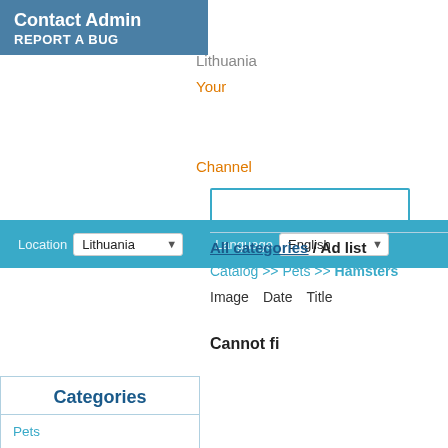Contact Admin
REPORT A BUG
Lithuania
Your
Location: Lithuania   Language: English
Channel
Categories
Pets
Pet Homes and Accessories
Birds
Cats & Kittens
Chinchillas
Dogs & Puppies
Farm, Smallholding & Livestock
Ferrets
Fish
Gerbils
Guinea pigs
Hamsters
Mice
Other Pets
All categories / Ad list
Catalog >> Pets >> Hamsters
Image   Date   Title
Cannot fi